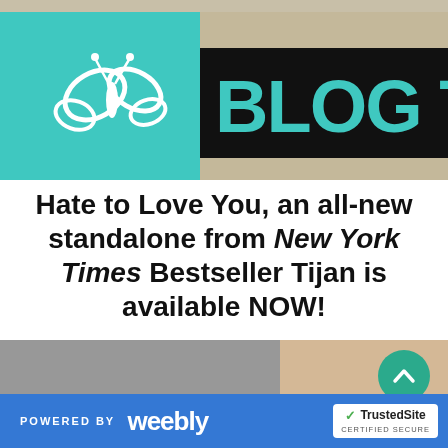[Figure (illustration): Blog Tour banner with teal/black color scheme. Left side has teal background with white butterfly logo. Center-right has black bar with large teal text reading 'BLOG TOU' (Tour, partially cropped). Below the black bar is a tan/beige background area.]
Hate to Love You, an all-new standalone from New York Times Bestseller Tijan is available NOW!
[Figure (photo): Partial book cover image showing a blurred grey and tan/skin-toned background. A green circular scroll-up button with a chevron/arrow pointing up is overlaid on the right side.]
POWERED BY weebly | TrustedSite CERTIFIED SECURE